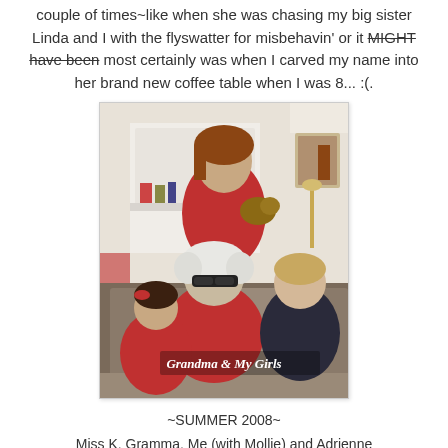couple of times~like when she was chasing my big sister Linda and I with the flyswatter for misbehavin' or it MIGHT have been most certainly was when I carved my name into her brand new coffee table when I was 8... :(
[Figure (photo): Family photo showing four people: a woman in red top standing and holding a small dog, an elderly woman with curly white hair and sunglasses seated in the middle wearing a red shirt, a young girl in red on the left, and a young woman in dark top on the right. Text overlay reads 'Grandma & My Girls'.]
~SUMMER 2008~
Miss K, Gramma, Me (with Mollie) and Adrienne